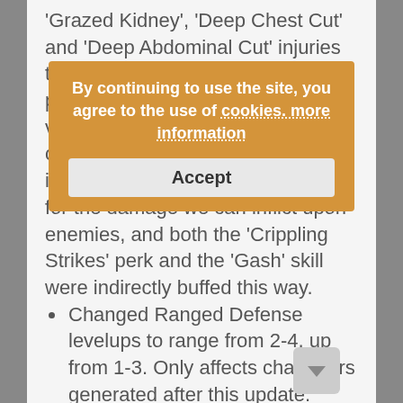'Grazed Kidney', 'Deep Chest Cut' and 'Deep Abdominal Cut' injuries to have more of an effect, in particular tying hp points of the victim to certain thresholds it currently above. In essence, these injuries are now a bit more useful for the damage we can inflict upon enemies, and both the 'Crippling Strikes' perk and the 'Gash' skill were indirectly buffed this way.
Changed Ranged Defense levelups to range from 2-4, up from 1-3. Only affects characters generated after this update.
Changed damage of Scimitar to 40-45, up from 35-45, and increased efficiency vs. armor to 70%.
Changed damage of Three-Headed Flail to 30-75, up from 21-66.
Changed damage of Billhook to 55-85, down from 60-90, and efficiency vs. armor of 140%, down from 150%.
Changed armor efficiency of Polehammer to
By continuing to use the site, you agree to the use of cookies. more information
Accept